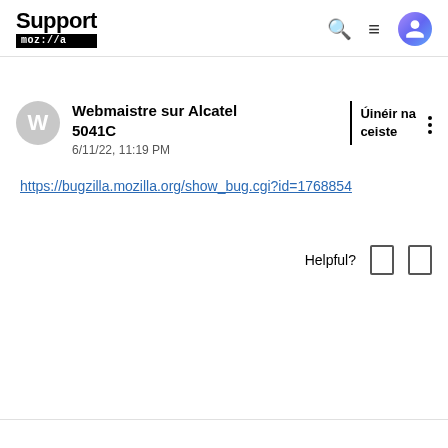Support mozilla
Webmaistre sur Alcatel 5041C
6/11/22, 11:19 PM
Úinéir na ceiste
https://bugzilla.mozilla.org/show_bug.cgi?id=1768854
Helpful?